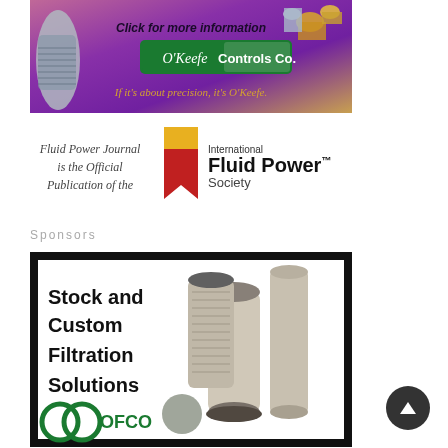[Figure (photo): O'Keefe Controls Co. advertisement banner with metallic fittings and fasteners on purple/pink background. Text: 'Click for more information', 'O'Keefe Controls Co.', 'If it's about precision, it's O'Keefe.']
[Figure (logo): International Fluid Power Society logo with red bookmark ribbon graphic next to text 'International Fluid Power Society'. Left side says 'Fluid Power Journal is the Official Publication of the']
Sponsors
[Figure (photo): OFCO advertisement: 'Stock and Custom Filtration Solutions' with photos of hydraulic filter elements on black and white background, OFCO green logo at bottom.]